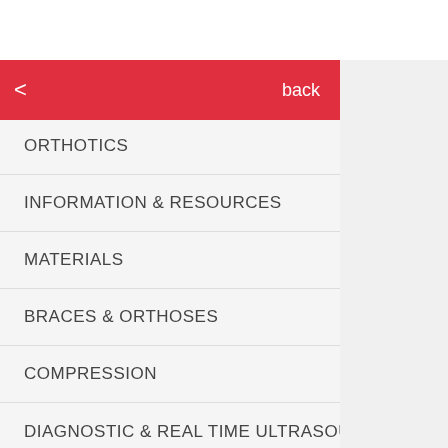back
PROSTHETICS
ORTHOTICS
INFORMATION & RESOURCES
MATERIALS
BRACES & ORTHOSES
COMPRESSION
DIAGNOSTIC & REAL TIME ULTRASOUND
EDUCATION & EVALUATION
[Figure (screenshot): Settings gear icon on right panel]
es
PRACTITIONER SUPPLIES